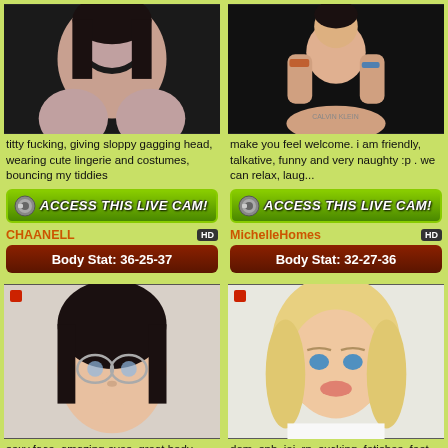[Figure (photo): Close-up photo of a dark-haired woman, upper body visible]
titty fucking, giving sloppy gagging head, wearing cute lingerie and costumes, bouncing my tiddies
[Figure (other): ACCESS THIS LIVE CAM button with camera icon]
CHAANELL
Body Stat: 36-25-37
[Figure (photo): Close-up photo of a tattooed person sitting cross-legged in Calvin Klein underwear]
make you feel welcome. i am friendly, talkative, funny and very naughty :p . we can relax, laug...
[Figure (other): ACCESS THIS LIVE CAM button with camera icon]
MichelleHomes
Body Stat: 32-27-36
[Figure (photo): Close-up photo of a dark-haired woman with glasses]
sexy face, amazing eyes, great body, extremely sensual and classy, great performer, dirty talk,...
[Figure (photo): Close-up photo of a blonde woman lying down]
dom, sph, joi, rp, sucking, fetishes, feet, c2c xxx